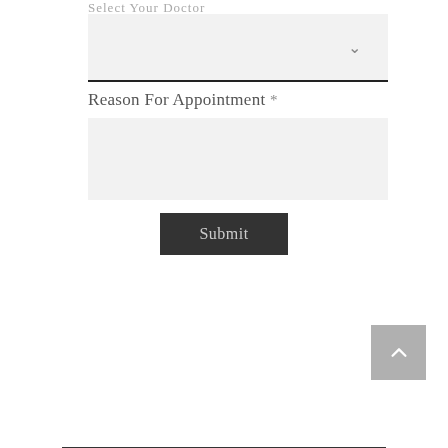Select Your Doctor
[Figure (screenshot): Dropdown select box with a chevron/down-arrow icon on the right, background light gray, with a dark bottom border]
Reason For Appointment *
[Figure (screenshot): Text area input box with light gray background for entering reason for appointment]
Submit
[Figure (other): Back to top button: gray square with upward chevron arrow icon]